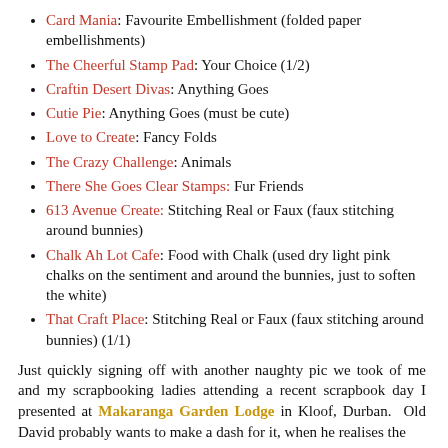Card Mania: Favourite Embellishment (folded paper embellishments)
The Cheerful Stamp Pad: Your Choice (1/2)
Craftin Desert Divas: Anything Goes
Cutie Pie: Anything Goes (must be cute)
Love to Create: Fancy Folds
The Crazy Challenge: Animals
There She Goes Clear Stamps: Fur Friends
613 Avenue Create: Stitching Real or Faux (faux stitching around bunnies)
Chalk Ah Lot Cafe: Food with Chalk (used dry light pink chalks on the sentiment and around the bunnies, just to soften the white)
That Craft Place: Stitching Real or Faux (faux stitching around bunnies) (1/1)
Just quickly signing off with another naughty pic we took of me and my scrapbooking ladies attending a recent scrapbook day I presented at Makaranga Garden Lodge in Kloof, Durban. Old David probably wants to make a dash for it, when he realises the